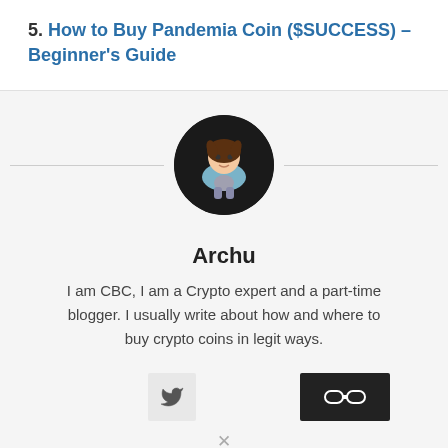5. How to Buy Pandemia Coin ($SUCCESS) – Beginner's Guide
[Figure (photo): Round avatar photo of blog author Archu, a 3D animated character holding something, dark background]
Archu
I am CBC, I am a Crypto expert and a part-time blogger. I usually write about how and where to buy crypto coins in legit ways.
[Figure (logo): Twitter bird icon button (light gray background) and a dark rectangular button with eyeglasses/binoculars icon]